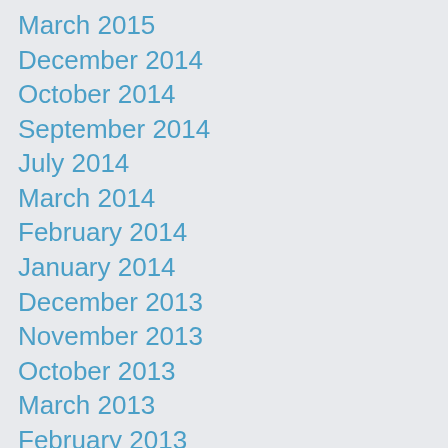March 2015
December 2014
October 2014
September 2014
July 2014
March 2014
February 2014
January 2014
December 2013
November 2013
October 2013
March 2013
February 2013
November 2012
July 2012
April 2012